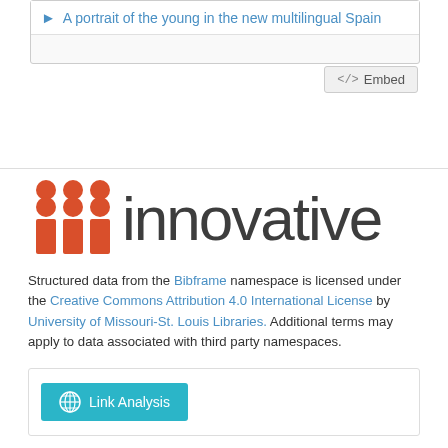A portrait of the young in the new multilingual Spain
[Figure (logo): Innovative Interfaces logo with three orange bar chart columns and the word 'innovative' in dark gray]
Structured data from the Bibframe namespace is licensed under the Creative Commons Attribution 4.0 International License by University of Missouri-St. Louis Libraries. Additional terms may apply to data associated with third party namespaces.
[Figure (other): Link Analysis button with globe/network icon]